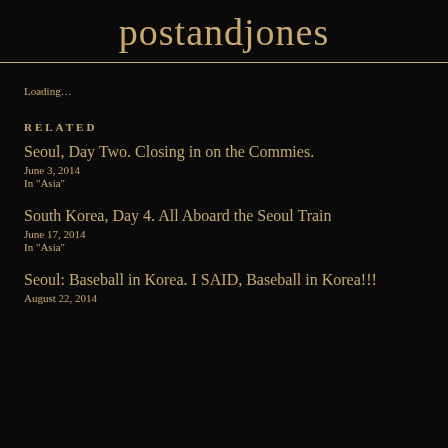postandjones
Loading...
RELATED
Seoul, Day Two. Closing in on the Commies.
June 3, 2014
In "Asia"
South Korea, Day 4. All Aboard the Seoul Train
June 17, 2014
In "Asia"
Seoul: Baseball in Korea. I SAID, Baseball in Korea!!!
August 22, 2014